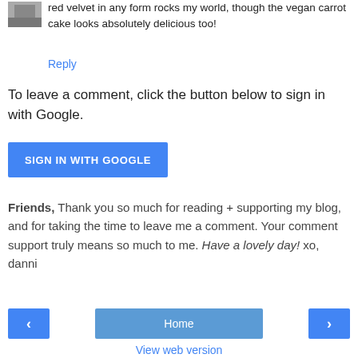red velvet in any form rocks my world, though the vegan carrot cake looks absolutely delicious too!
Reply
To leave a comment, click the button below to sign in with Google.
[Figure (other): Blue button labeled SIGN IN WITH GOOGLE]
Friends, Thank you so much for reading + supporting my blog, and for taking the time to leave me a comment. Your comment support truly means so much to me. Have a lovely day! xo, danni
[Figure (other): Navigation bar with left arrow button, Home button, and right arrow button]
View web version
Powered by Blogger.